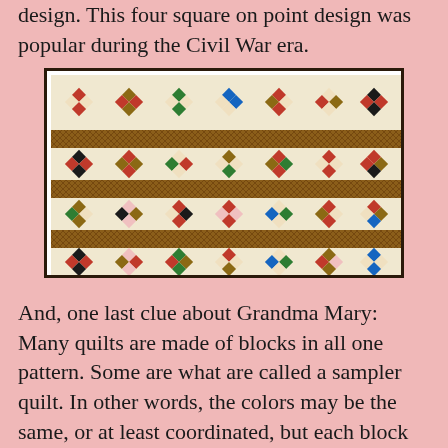design. This four square on point design was popular during the Civil War era.
[Figure (illustration): A quilt image showing rows of four-patch blocks set on point, separated by horizontal brown striped sashing bands. The blocks feature various colors including red, blue, green, gold, black, and brown on a cream/beige background.]
And, one last clue about Grandma Mary: Many quilts are made of blocks in all one pattern. Some are what are called a sampler quilt. In other words, the colors may be the same, or at least coordinated, but each block design is different. An example is this modern sampler quilt by an unknown